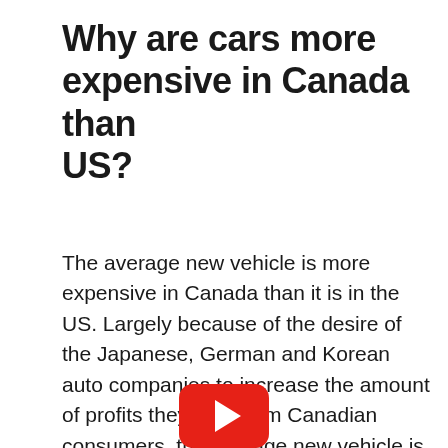Why are cars more expensive in Canada than US?
The average new vehicle is more expensive in Canada than it is in the US. Largely because of the desire of the Japanese, German and Korean auto companies to increase the amount of profits they take from Canadian consumers, the average new vehicle is $5,842 (17 percent) more expensive in Canada than it is in the US.
[Figure (logo): YouTube logo — red rounded rectangle with white play triangle]